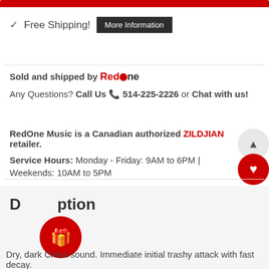[Figure (other): Red banner bar at top]
✓ Free Shipping! [More Information]
Sold and shipped by RedOne
Any Questions? Call Us 📞 514-225-2226 or Chat with us!
RedOne Music is a Canadian authorized ZILDJIAN retailer.
Service Hours: Monday - Friday: 9AM to 6PM | Weekends: 10AM to 5PM
Description
Dry, dark China sound. Immediate initial trashy attack with fast decay.